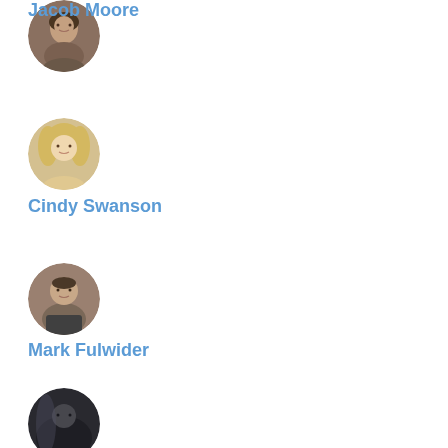[Figure (photo): Circular avatar photo of Jacob Moore, a man]
Jacob Moore
[Figure (photo): Circular avatar photo of Cindy Swanson, a woman with blonde hair]
Cindy Swanson
[Figure (photo): Circular avatar photo of Mark Fulwider, a man]
Mark Fulwider
[Figure (photo): Circular avatar photo of a fourth person, partially visible]